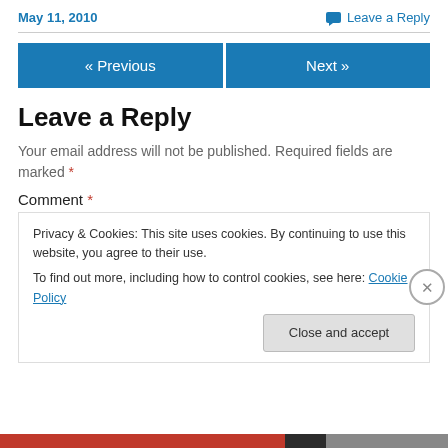May 11, 2010    Leave a Reply
« Previous    Next »
Leave a Reply
Your email address will not be published. Required fields are marked *
Comment *
Privacy & Cookies: This site uses cookies. By continuing to use this website, you agree to their use. To find out more, including how to control cookies, see here: Cookie Policy
Close and accept